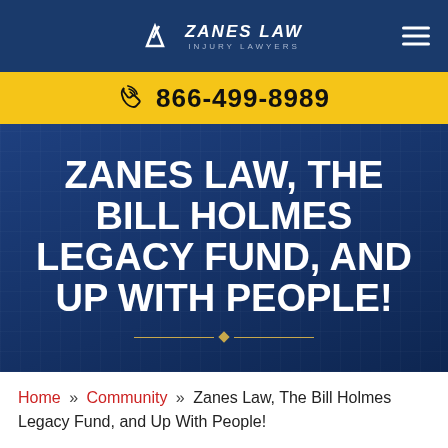Zanes Law Injury Lawyers — 866-499-8989
ZANES LAW, THE BILL HOLMES LEGACY FUND, AND UP WITH PEOPLE!
Home » Community » Zanes Law, The Bill Holmes Legacy Fund, and Up With People!